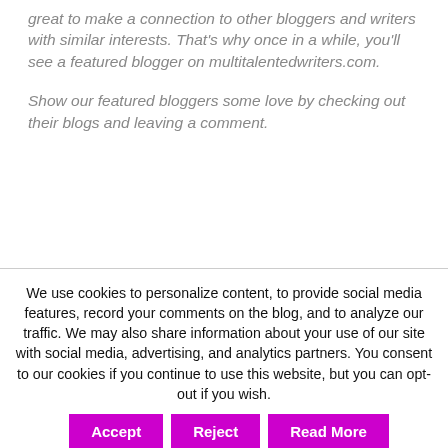great to make a connection to other bloggers and writers with similar interests. That's why once in a while, you'll see a featured blogger on multitalentedwriters.com.
Show our featured bloggers some love by checking out their blogs and leaving a comment.
We use cookies to personalize content, to provide social media features, record your comments on the blog, and to analyze our traffic. We may also share information about your use of our site with social media, advertising, and analytics partners. You consent to our cookies if you continue to use this website, but you can opt-out if you wish.